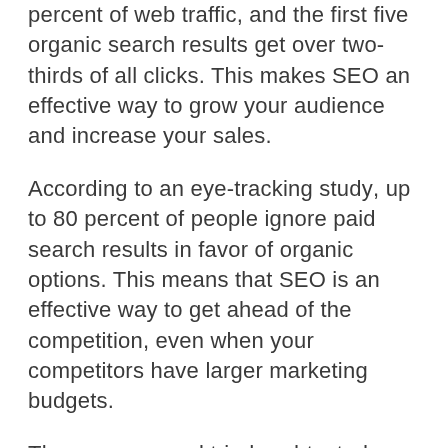percent of web traffic, and the first five organic search results get over two-thirds of all clicks. This makes SEO an effective way to grow your audience and increase your sales.
According to an eye-tracking study, up to 80 percent of people ignore paid search results in favor of organic options. This means that SEO is an effective way to get ahead of the competition, even when your competitors have larger marketing budgets.
There are several tried-and-tested ways to boost your search engine rankings. This includes formatting your blog pages so